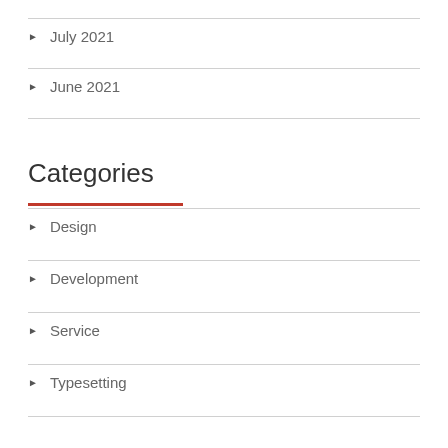July 2021
June 2021
Categories
Design
Development
Service
Typesetting